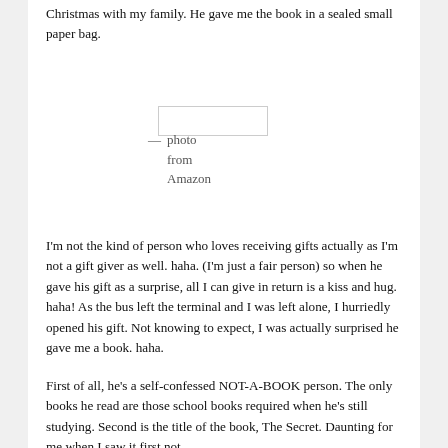Christmas with my family. He gave me the book in a sealed small paper bag.
[Figure (photo): Small rectangular placeholder box representing a photo from Amazon]
— photo from Amazon
I'm not the kind of person who loves receiving gifts actually as I'm not a gift giver as well. haha. (I'm just a fair person) so when he gave his gift as a surprise, all I can give in return is a kiss and hug. haha! As the bus left the terminal and I was left alone, I hurriedly opened his gift. Not knowing to expect, I was actually surprised he gave me a book. haha.
First of all, he's a self-confessed NOT-A-BOOK person. The only books he read are those school books required when he's still studying. Second is the title of the book, The Secret. Daunting for me when I saw it first not